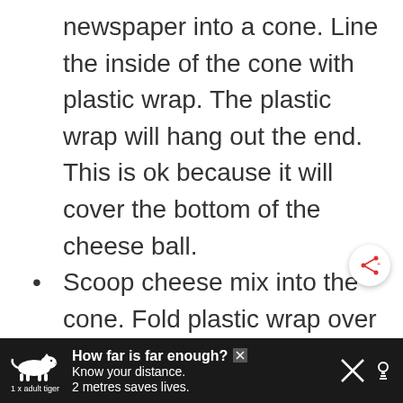newspaper into a cone. Line the inside of the cone with plastic wrap. The plastic wrap will hang out the end. This is ok because it will cover the bottom of the cheese ball.
Scoop cheese mix into the cone. Fold plastic wrap over the end of the cheese
[Figure (infographic): Dark advertisement bar at bottom of page. Shows a tiger silhouette illustration with text '1 x adult tiger'. Ad headline reads 'How far is far enough?' with a close X button. Subtext says 'Know your distance. 2 metres saves lives.' with additional icons on the right.]